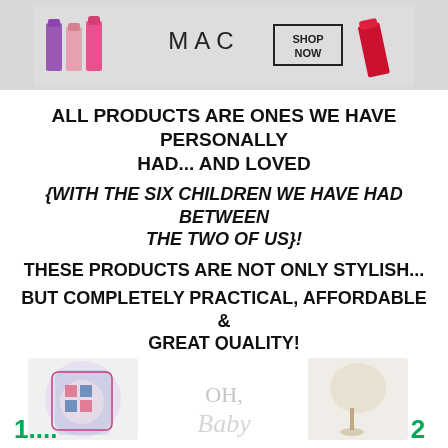[Figure (photo): MAC cosmetics banner advertisement showing lipsticks in purple, pink, and red colors with MAC logo and SHOP NOW button]
ALL PRODUCTS ARE ONES WE HAVE PERSONALLY HAD... AND LOVED
{WITH THE SIX CHILDREN WE HAVE HAD BETWEEN THE TWO OF US}!
THESE PRODUCTS ARE NOT ONLY STYLISH...
BUT COMPLETELY PRACTICAL, AFFORDABLE & GREAT QUALITY!
[Figure (photo): Bottom row showing three product images: a patterned backpack on the left with number 1, a cursive OH BABY text/book in the center, and a baby item/lamp on the right with number 2]